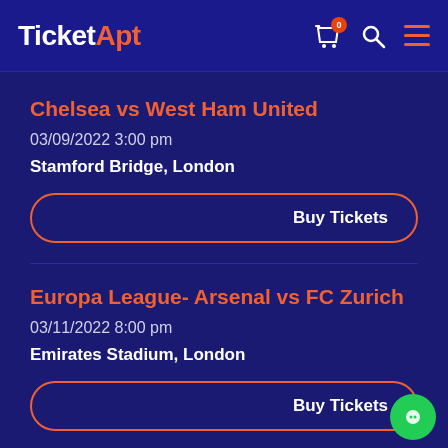TicketApt
Chelsea vs West Ham United
03/09/2022 3:00 pm
Stamford Bridge, London
Buy Tickets
Europa League- Arsenal vs FC Zurich
03/11/2022 8:00 pm
Emirates Stadium, London
Buy Tickets